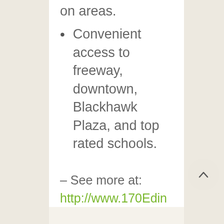on areas.
Convenient access to freeway, downtown, Blackhawk Plaza, and top rated schools.
– See more at: http://www.170EdinburghCircle.com/